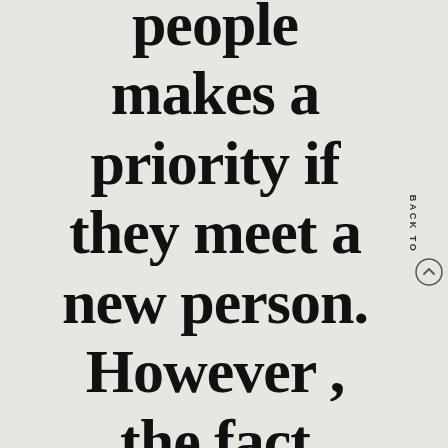people makes a priority if they meet a new person. However , the fact .